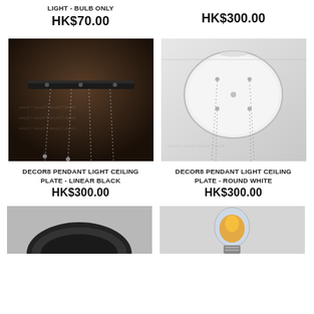LIGHT - BULB ONLY
HK$70.00
HK$300.00
[Figure (photo): Black linear ceiling plate with hanging wires, pendant light component, dark brown background]
[Figure (photo): White round ceiling plate with multiple holes for pendant lights, light gray background]
DECOR8 PENDANT LIGHT CEILING PLATE - LINEAR BLACK
HK$300.00
DECOR8 PENDANT LIGHT CEILING PLATE - ROUND WHITE
HK$300.00
[Figure (photo): Close-up bottom view of a dark circular ceiling fixture, gray background]
[Figure (photo): Clear and amber LED bulb product photo on light gray background]